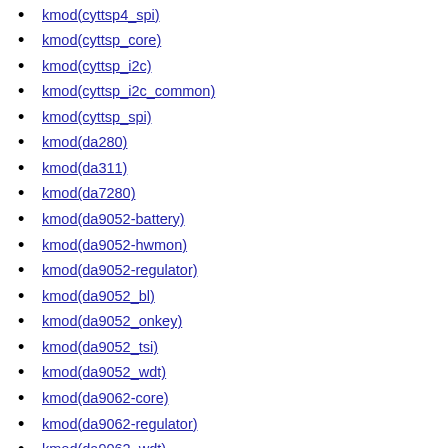kmod(cyttsp4_spi)
kmod(cyttsp_core)
kmod(cyttsp_i2c)
kmod(cyttsp_i2c_common)
kmod(cyttsp_spi)
kmod(da280)
kmod(da311)
kmod(da7280)
kmod(da9052-battery)
kmod(da9052-hwmon)
kmod(da9052-regulator)
kmod(da9052_bl)
kmod(da9052_onkey)
kmod(da9052_tsi)
kmod(da9052_wdt)
kmod(da9062-core)
kmod(da9062-regulator)
kmod(da9062_wdt)
kmod(da9063)
kmod(da9063_onkey)
kmod(da9063_wdt)
kmod(da9150-charger)
kmod(da9150-core)
kmod(da9150-fg)
kmod(da9150-gpadc)